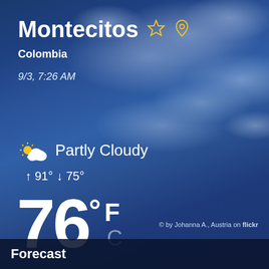Montecitos
Colombia
9/3, 7:26 AM
Partly Cloudy
↑ 91° ↓ 75°
76° F C
© by Johanna A., Austria on flickr
Forecast